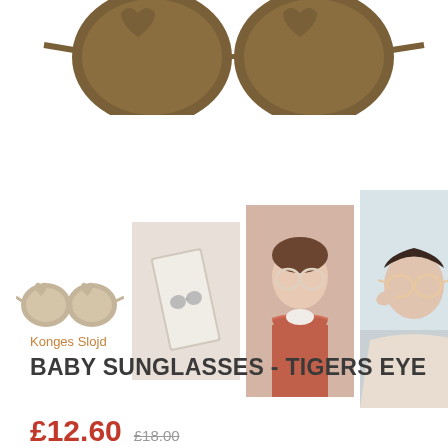[Figure (photo): Product photo: brown/olive heart-shaped baby sunglasses viewed from above, top portion cropped at top of page]
[Figure (photo): Small thumbnail: small heart-shaped beige/tan baby sunglasses, side view on white background]
[Figure (photo): Thumbnail photo: sunglasses in a box/packaging, flat lay with beige background]
[Figure (photo): Thumbnail photo: young toddler girl wearing heart-shaped sunglasses with terracotta ruffle collar]
[Figure (photo): Thumbnail photo: young child wearing heart-shaped sunglasses, light blue/beige background]
Konges Slojd
BABY SUNGLASSES - TIGERS EYE
£12.60  £18.00